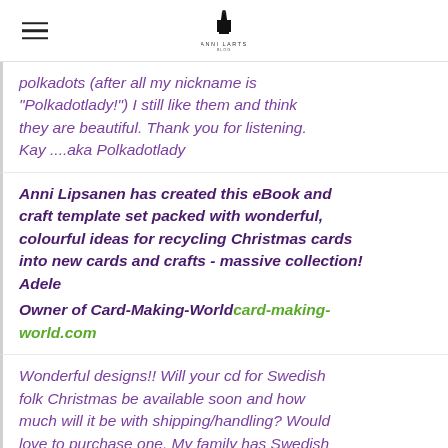Anni Larts logo header with hamburger menu
polkadots (after all my nickname is "Polkadotlady!")  I still like them and think they are beautiful. Thank you for listening. Kay ....aka Polkadotlady
Anni Lipsanen has created this eBook and craft template set packed with wonderful, colourful ideas for recycling Christmas cards into new cards and crafts - massive collection! Adele
Owner of Card-Making-World card-making-world.com
Wonderful designs!! Will your cd for Swedish folk Christmas be available soon and how much will it be with shipping/handling? Would love to purchase one. My family has Swedish